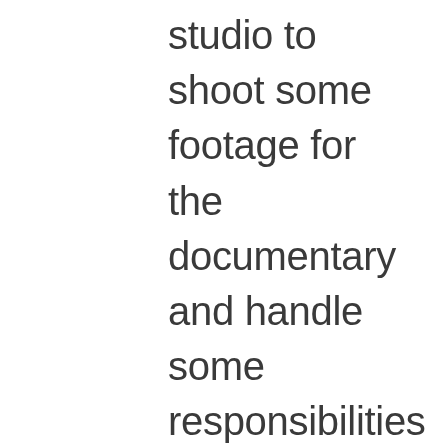studio to shoot some footage for the documentary and handle some responsibilities around the homestead. Also, got in a new pedal but had to swap it for something better suited for our needs. Hopefully life gets back to normal soon but until then don't forget to stop and smell the